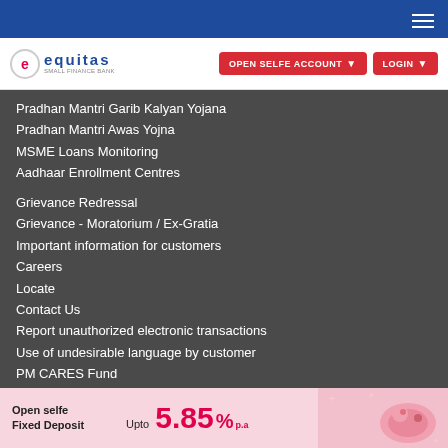Equitas Small Finance Bank navigation header
[Figure (logo): Equitas bank logo with stylized 'e' circle and equitas wordmark]
Pradhan Mantri Garib Kalyan Yojana
Pradhan Mantri Awas Yojna
MSME Loans Monitoring
Aadhaar Enrollment Centres
Grievance Redressal
Grievance - Moratorium / Ex-Gratia
Important information for customers
Careers
Locate
Contact Us
Report unauthorized electronic transactions
Use of undesirable language by customer
PM CARES Fund
STAY CONNECTED WITH US
Open selfe Fixed Deposit Upto 5.85% p.a.